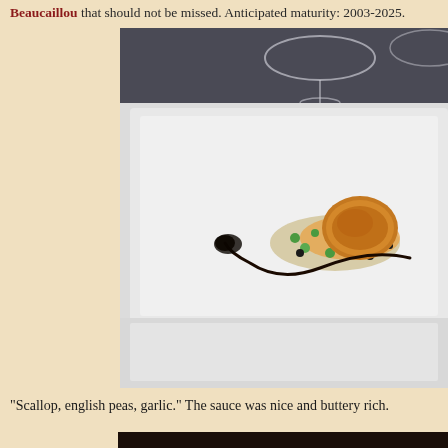Beaucaillou that should not be missed. Anticipated maturity: 2003-2025.
[Figure (photo): A plated seared scallop dish on a white rectangular plate, garnished with English peas and a dark sauce drizzle, with a wine glass visible in the background.]
“Scallop, english peas, garlic.” The sauce was nice and buttery rich.
[Figure (photo): Partial view of another food dish, bottom of page.]